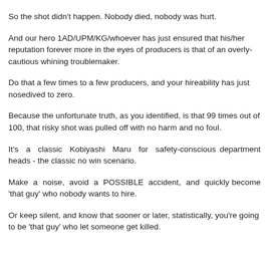So the shot didn't happen. Nobody died, nobody was hurt.
And our hero 1AD/UPM/KG/whoever has just ensured that his/her reputation forever more in the eyes of producers is that of an overly-cautious whining troublemaker.
Do that a few times to a few producers, and your hireability has just nosedived to zero.
Because the unfortunate truth, as you identified, is that 99 times out of 100, that risky shot was pulled off with no harm and no foul.
It's a classic Kobiyashi Maru for safety-conscious department heads - the classic no win scenario.
Make a noise, avoid a POSSIBLE accident, and quickly become 'that guy' who nobody wants to hire.
Or keep silent, and know that sooner or later, statistically, you're going to be 'that guy' who let someone get killed.